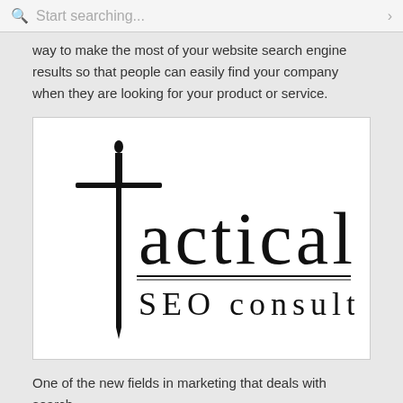Start searching...
way to make the most of your website search engine results so that people can easily find your company when they are looking for your product or service.
[Figure (logo): Tactical SEO Consulting logo featuring a sword forming the letter T with decorative serif typography reading 'tactical' and 'SEO consulting' below.]
One of the new fields in marketing that deals with search